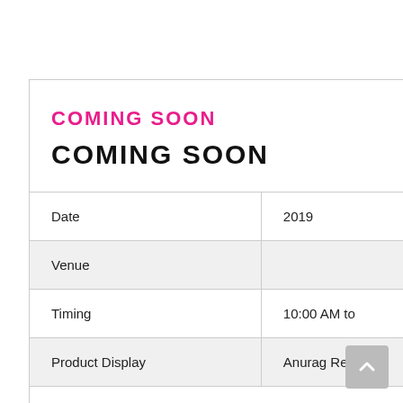COMING SOON
|  |  |
| --- | --- |
| Date | 2019 |
| Venue |  |
| Timing | 10:00 AM to |
| Product Display | Anurag Retc |